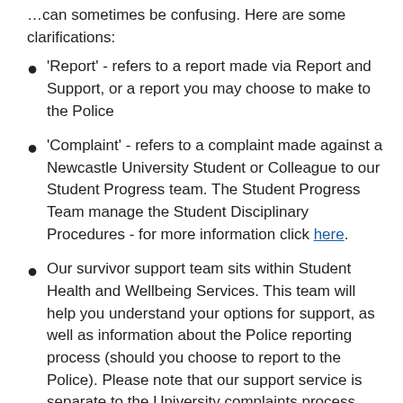…can sometimes be confusing. Here are some clarifications:
'Report' - refers to a report made via Report and Support, or a report you may choose to make to the Police
'Complaint' - refers to a complaint made against a Newcastle University Student or Colleague to our Student Progress team. The Student Progress Team manage the Student Disciplinary Procedures - for more information click here.
Our survivor support team sits within Student Health and Wellbeing Services. This team will help you understand your options for support, as well as information about the Police reporting process (should you choose to report to the Police). Please note that our support service is separate to the University complaints process. Using Report and Support does not automatically